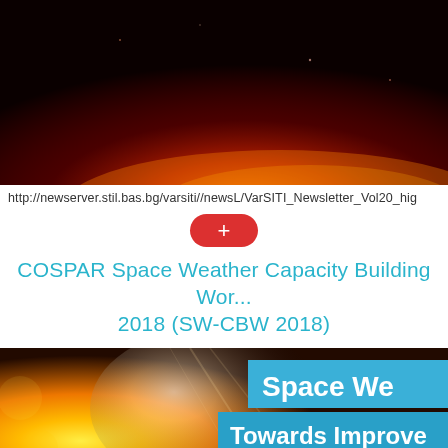[Figure (photo): Solar image with dark red/black background and glowing orange-red corona arc at the bottom of frame]
http://newserver.stil.bas.bg/varsiti//newsL/VarSITI_Newsletter_Vol20_hig
[Figure (other): Red rounded button with white plus (+) symbol]
COSPAR Space Weather Capacity Building Wor... 2018 (SW-CBW 2018)
[Figure (photo): Solar flare image with yellow/orange sun surface on left and black space on right, overlaid with blue/green text boxes reading Space We..., Towards Improve..., COSPAR Capacity B...]